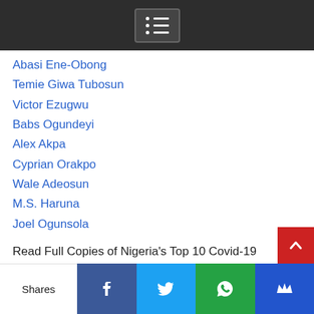Abasi Ene-Obong
Temie Giwa Tubosun
Victor Ezugwu
Babs Ogundeyi
Alex Akpa
Cyprian Orakpo
Wale Adeosun
M.S. Haruna
Joel Ogunsola
Read Full Copies of Nigeria's Top 10 Covid-19 Innovators
[Figure (photo): Magazine cover showing Top 10 Covid-19 Innovators issue with a portrait photo and red logo]
Shares | Facebook | Twitter | WhatsApp | Crown